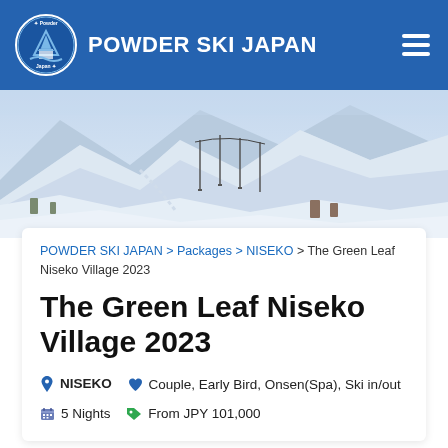POWDER SKI JAPAN
[Figure (photo): Aerial winter mountain ski resort panorama with snow-covered slopes and ski lifts]
POWDER SKI JAPAN > Packages > NISEKO > The Green Leaf Niseko Village 2023
The Green Leaf Niseko Village 2023
NISEKO  Couple, Early Bird, Onsen(Spa), Ski in/out  5 Nights  From JPY 101,000